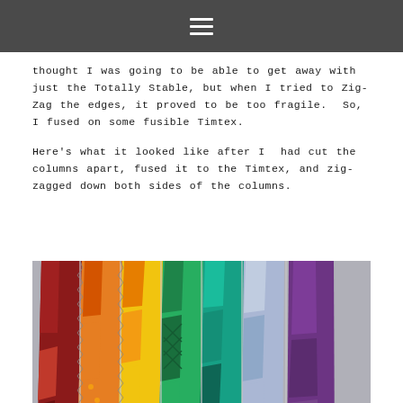☰
thought I was going to be able to get away with just the Totally Stable, but when I tried to Zig-Zag the edges, it proved to be too fragile.  So, I fused on some fusible Timtex.
Here's what it looked like after I  had cut the columns apart, fused it to the Timtex, and zig-zagged down both sides of the columns.
[Figure (photo): Colorful quilt fabric columns cut apart and zig-zagged, arranged vertically side by side showing rainbow colors from red/orange on the left through yellow, green, teal, blue, and purple on the right, on a grey background.]